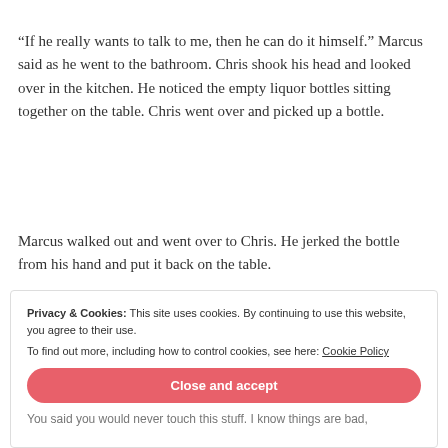“If he really wants to talk to me, then he can do it himself.” Marcus said as he went to the bathroom. Chris shook his head and looked over in the kitchen. He noticed the empty liquor bottles sitting together on the table. Chris went over and picked up a bottle.
Marcus walked out and went over to Chris. He jerked the bottle from his hand and put it back on the table.
[Figure (other): Advertisement banner with gradient background (teal to yellow-green) showing text 'stories.' and a logo icon on the right. 'REPORT THIS AD' text below right.]
Privacy & Cookies: This site uses cookies. By continuing to use this website, you agree to their use.
To find out more, including how to control cookies, see here: Cookie Policy
Close and accept
You said you would never touch this stuff. I know things are bad,